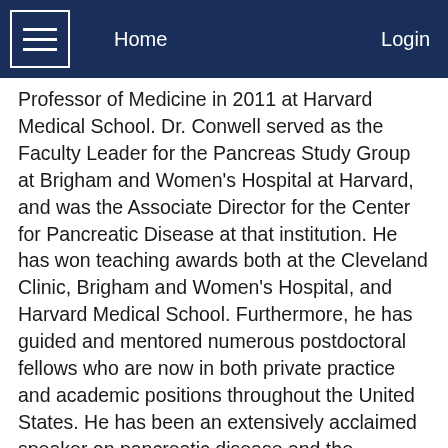Home | Login
Professor of Medicine in 2011 at Harvard Medical School. Dr. Conwell served as the Faculty Leader for the Pancreas Study Group at Brigham and Women's Hospital at Harvard, and was the Associate Director for the Center for Pancreatic Disease at that institution. He has won teaching awards both at the Cleveland Clinic, Brigham and Women's Hospital, and Harvard Medical School. Furthermore, he has guided and mentored numerous postdoctoral fellows who are now in both private practice and academic positions throughout the United States. He has been an extensively acclaimed speaker on pancreatic disease and the management of chronic pancreatitis at educational programs sponsored by multiple universities, the ACG, AGA, and the NIH/NIDDK. Dr. Conwell is senior author of the American Pancreatic Association Practice Guidelines for Diagnosis of Chronic Pancreatitis. Dr. Conwell is extremely